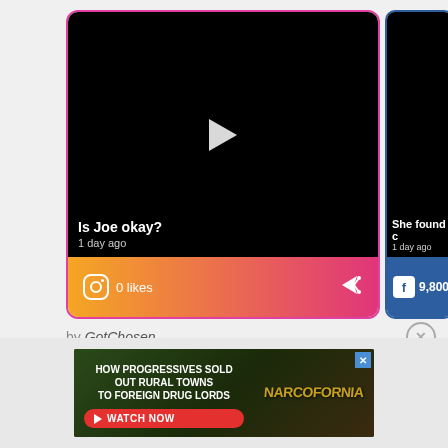[Figure (screenshot): Video card with black video thumbnail showing a play button, title 'Is Joe okay?', timestamp '1 day ago', Instagram icon with '0 likes', and share icon on gradient orange-to-pink footer]
[Figure (screenshot): Partial Facebook video card showing black video area, 'She found c...' title, '1 day ago', and Facebook icon with '9,800 l...' likes on blue footer]
by GotChosen
[Figure (screenshot): Advertisement: 'HOW PROGRESSIVES SOLD OUT RURAL TOWNS TO FOREIGN DRUG LORDS' with a red WATCH NOW button and 'NARCOFORNIA' logo on dark green cannabis leaf background]